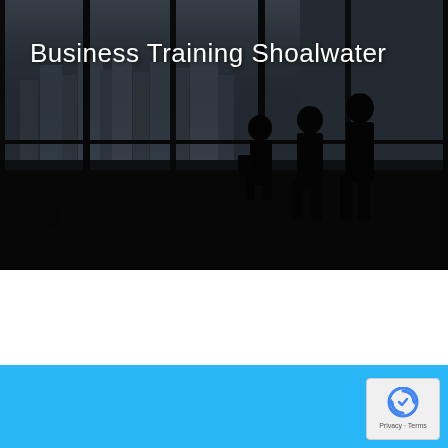[Figure (photo): Dark moody black-and-white photo of silhouetted business people standing in a modern office with large floor-to-ceiling windows overlooking a city skyline. The floor has a dark reflective surface.]
Business Training Shoalwater
[Figure (logo): reCAPTCHA badge/widget with reCAPTCHA logo icon and Privacy · Terms text, displayed in a small white rounded rectangle in the lower right of the blue section.]